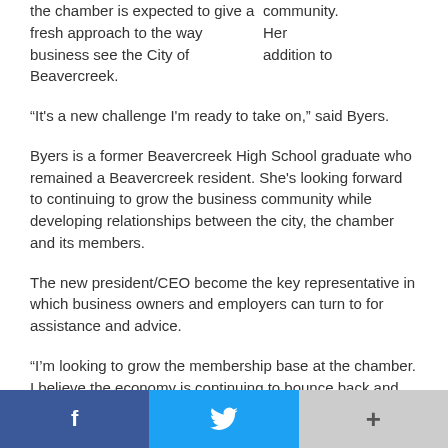community. Her addition to the chamber is expected to give a fresh approach to the way business see the City of Beavercreek.
“It's a new challenge I'm ready to take on,” said Byers.
Byers is a former Beavercreek High School graduate who remained a Beavercreek resident. She's looking forward to continuing to grow the business community while developing relationships between the city, the chamber and its members.
The new president/CEO become the key representative in which business owners and employers can turn to for assistance and advice.
“I’m looking to grow the membership base at the chamber. I believe the economy is continuing to bounce back and the
f    +